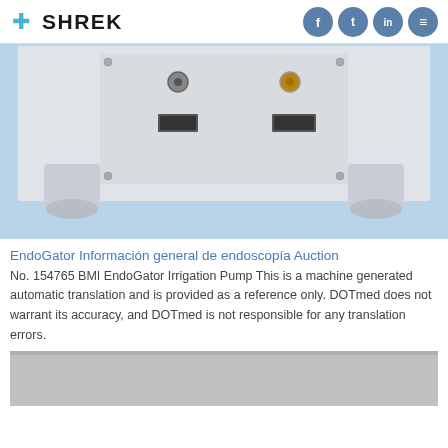SHREK
[Figure (photo): Back panel of a medical irrigation pump (BMI EndoGator) showing connectors and USB ports, sitting on a blue surface.]
EndoGator Información general de endoscopía Auction
No. 154765 BMI EndoGator Irrigation Pump This is a machine generated automatic translation and is provided as a reference only. DOTmed does not warrant its accuracy, and DOTmed is not responsible for any translation errors.
[Figure (photo): Partial view of a grey/silver medical device surface.]